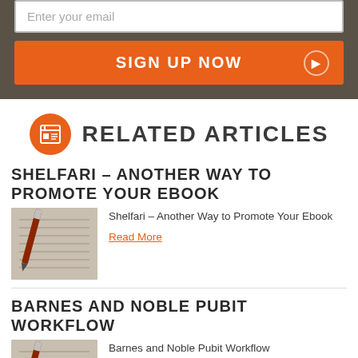Enter your email
SIGN UP NOW
RELATED ARTICLES
SHELFARI – ANOTHER WAY TO PROMOTE YOUR EBOOK
[Figure (photo): Photo of a red pen resting on handwritten notebook pages]
Shelfari – Another Way to Promote Your Ebook
Read More
BARNES AND NOBLE PUBIT WORKFLOW
[Figure (photo): Photo of a red pen resting on handwritten notebook pages]
Barnes and Noble Pubit Workflow
Read More